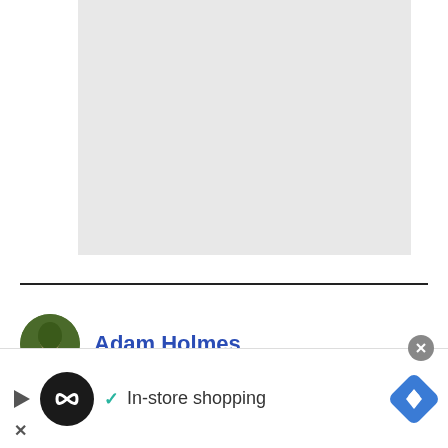[Figure (other): Gray placeholder image box in upper portion of page]
Adam Holmes
[Figure (other): Advertisement bar at bottom: loop/infinity logo, checkmark with 'In-store shopping' text, navigation diamond icon, close X button]